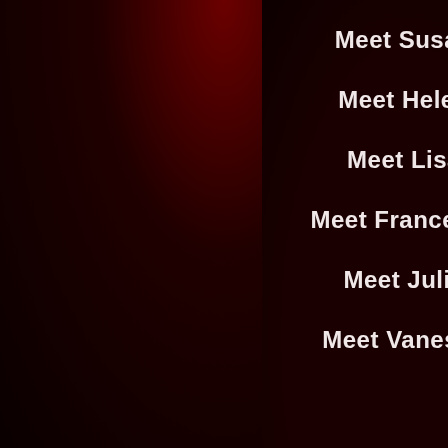Meet Susan
Meet Helen
Meet Lisa
Meet Francesca
Meet Julia
Meet Vanessa